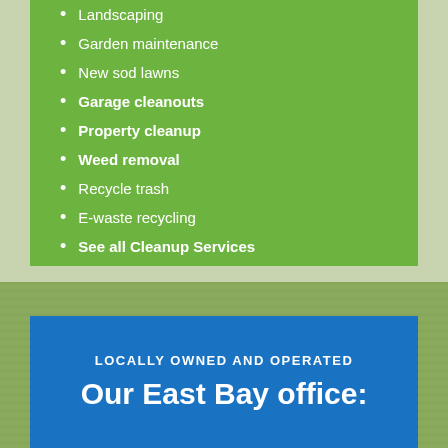Landscaping
Garden maintenance
New sod lawns
Garage cleanouts
Property cleanup
Weed removal
Recycle trash
E-waste recycling
See all Cleanup Services
LOCALLY OWNED AND OPERATED
Our East Bay office: